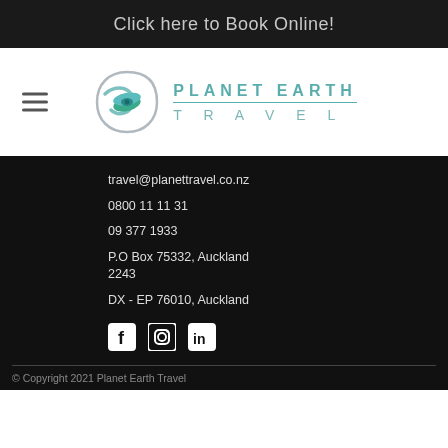Click here to Book Online!
[Figure (logo): Planet Earth Travel logo with stylized globe icon and teal lettering]
travel@planettravel.co.nz
0800 11 11 31
09 377 1933
P.O Box 75332, Auckland 2243
DX - EP 76010, Auckland
[Figure (illustration): Social media icons: Facebook, Instagram, LinkedIn]
© Copyright 2021 Planet Earth Travel